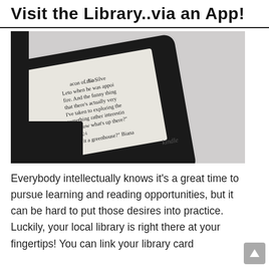Visit the Library..via an App!
[Figure (photo): Close-up photo of a Kindle e-reader device showing text from a book on its screen, resting on a light gray surface.]
Everybody intellectually knows it's a great time to pursue learning and reading opportunities, but it can be hard to put those desires into practice. Luckily, your local library is right there at your fingertips! You can link your library card